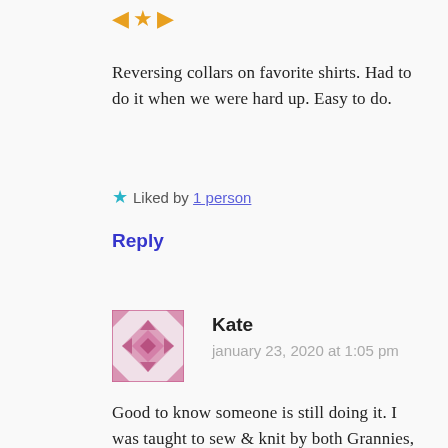[Figure (illustration): Three small icons: left arrow, thumbs up/like, right arrow in orange/gold color]
Reversing collars on favorite shirts. Had to do it when we were hard up. Easy to do.
Liked by 1 person
Reply
[Figure (illustration): Square avatar with pink/mauve geometric quilt-pattern design]
Kate
january 23, 2020 at 1:05 pm
Good to know someone is still doing it. I was taught to sew & knit by both Grannies, and to darn by Mum. Yes, I use Granny's darning mushroom and still darn my own socks even though age and disability has taken away a lot of my dexterity. Had I not been a musician, by